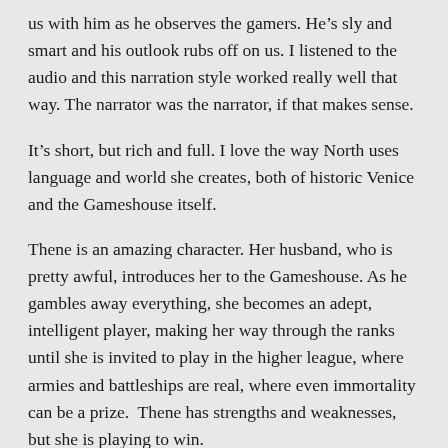us with him as he observes the gamers. He's sly and smart and his outlook rubs off on us. I listened to the audio and this narration style worked really well that way. The narrator was the narrator, if that makes sense.
It's short, but rich and full. I love the way North uses language and world she creates, both of historic Venice and the Gameshouse itself.
Thene is an amazing character. Her husband, who is pretty awful, introduces her to the Gameshouse. As he gambles away everything, she becomes an adept, intelligent player, making her way through the ranks until she is invited to play in the higher league, where armies and battleships are real, where even immortality can be a prize.  Thene has strengths and weaknesses, but she is playing to win.